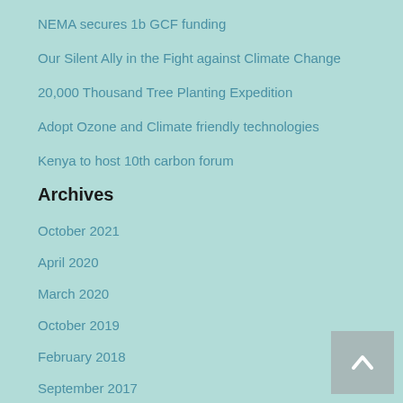NEMA secures 1b GCF funding
Our Silent Ally in the Fight against Climate Change
20,000 Thousand Tree Planting Expedition
Adopt Ozone and Climate friendly technologies
Kenya to host 10th carbon forum
Archives
October 2021
April 2020
March 2020
October 2019
February 2018
September 2017
July 2016
May 2016
February 2016